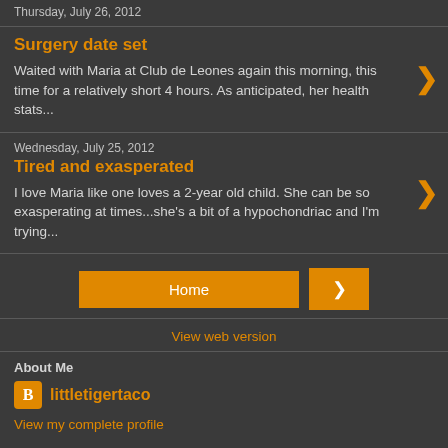Thursday, July 26, 2012
Surgery date set
Waited with Maria at Club de Leones again this morning, this time for a relatively short 4 hours. As anticipated, her health stats...
Wednesday, July 25, 2012
Tired and exasperated
I love Maria like one loves a 2-year old child. She can be so exasperating at times...she's a bit of a hypochondriac and I'm trying...
Home
View web version
About Me
littletigertaco
View my complete profile
Powered by Blogger.